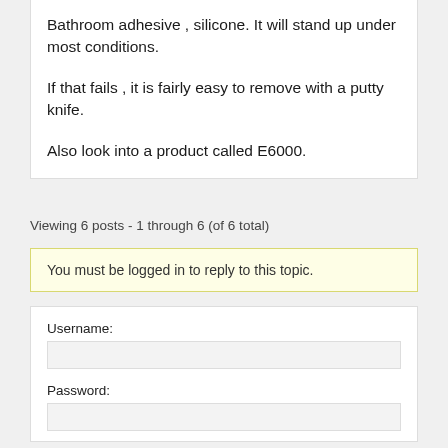Bathroom adhesive , silicone. It will stand up under most conditions.

If that fails , it is fairly easy to remove with a putty knife.

Also look into a product called E6000.
Viewing 6 posts - 1 through 6 (of 6 total)
You must be logged in to reply to this topic.
Username:
Password: